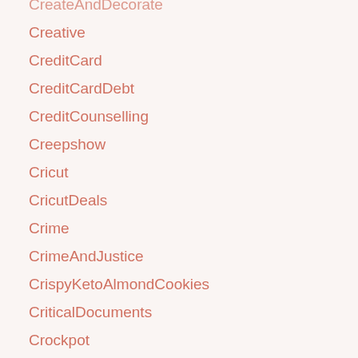CreateAndDecorate
Creative
CreditCard
CreditCardDebt
CreditCounselling
Creepshow
Cricut
CricutDeals
Crime
CrimeAndJustice
CrispyKetoAlmondCookies
CriticalDocuments
Crockpot
CrocsAndSocks
CrunchyGranolaBars